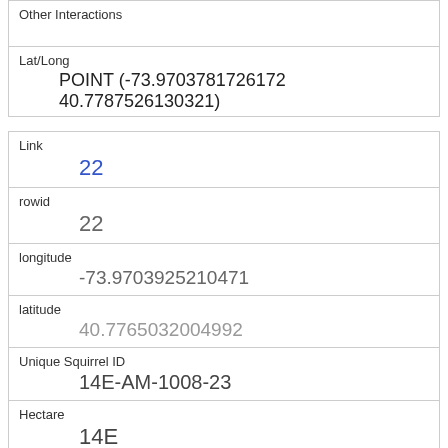| Other Interactions |  |
| Lat/Long | POINT (-73.9703781726172 40.7787526130321) |
| Link | 22 |
| rowid | 22 |
| longitude | -73.9703925210471 |
| latitude | 40.7765032004992 |
| Unique Squirrel ID | 14E-AM-1008-23 |
| Hectare | 14E |
| Shift | AM |
| Date | 10082018 |